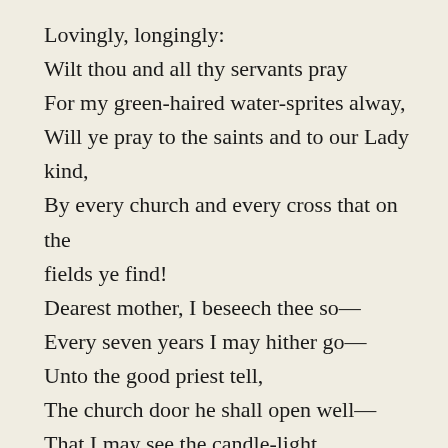Lovingly, longingly:
Wilt thou and all thy servants pray
For my green-haired water-sprites alway,
Will ye pray to the saints and to our Lady kind,
By every church and every cross that on the fields ye find!
Dearest mother, I beseech thee so—
Every seven years I may hither go—
Unto the good priest tell,
The church door he shall open well—
That I may see the candle-light
And see the golden monstrance bright,
That my little children may be told
How the gleam of the Cup is like sunlight gold!"